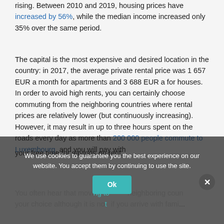rising. Between 2010 and 2019, housing prices have increased by 56%, while the median income increased only 35% over the same period.
The capital is the most expensive and desired location in the country: in 2017, the average private rental price was 1 657 EUR a month for apartments and 3 688 EUR a for houses. In order to avoid high rents, you can certainly choose commuting from the neighboring countries where rental prices are relatively lower (but continuously increasing). However, it may result in up to three hours spent on the roads every day as more than 200 000 people commute to Luxembourg, and you will pay with your free time for savings on rent.
You often hear that moving to neighboring coun... your choice although it is not if you arrive with fami...
We use cookies to guarantee you the best experience on our website. You accept them by continuing to use the site.